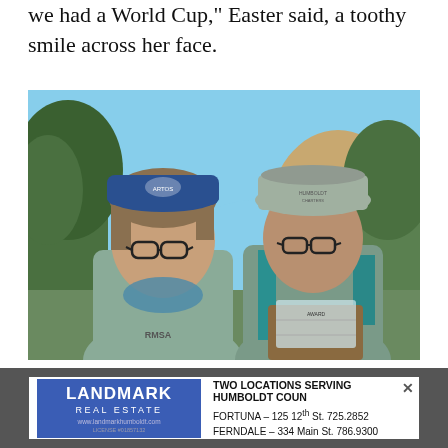we had a World Cup," Easter said, a toothy smile across her face.
[Figure (photo): Two women wearing hats and teal/green sweatshirts smiling outdoors. The woman on the left wears a blue cap and patterned neck gaiter; the one on the right wears a gray bucket hat with teal hair, holding a wooden and glass award plaque. Trees and rocky hills in the background.]
Photo by Johnathan Kamierczak
LANDMARK REAL ESTATE  TWO LOCATIONS SERVING HUMBOLDT COUN  FORTUNA – 125 12th St. 725.2852  FERNDALE – 334 Main St. 786.9300  www.landmarkhumboldt.com  LICENSE #01857132